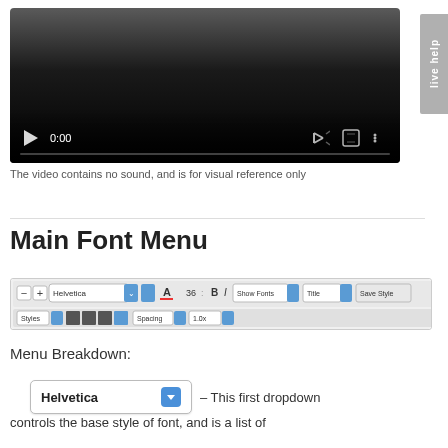[Figure (screenshot): Video player showing 0:00 timestamp with play button, mute, fullscreen, and options controls on a dark gradient background]
The video contains no sound, and is for visual reference only
Main Font Menu
[Figure (screenshot): Toolbar showing font controls: minus/plus buttons, Helvetica dropdown, size controls, A with underline, 36 size, B, I, Show Fonts dropdown, Title dropdown, Save Style button, and a second row with Styles, alignment buttons, Spacing and 1.0x controls]
Menu Breakdown:
[Figure (screenshot): Helvetica dropdown UI element with blue arrow button]
– This first dropdown controls the base style of font, and is a list of all fonts currently installed on the computer.